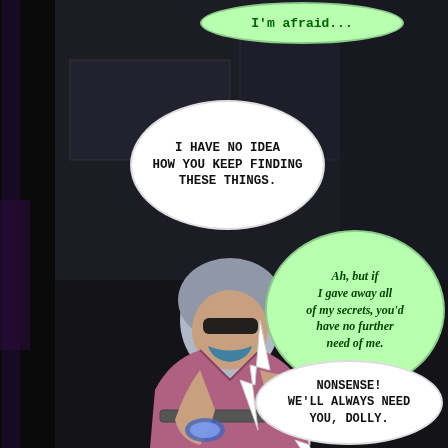[Figure (illustration): 3D rendered comic panel showing a woman with blue-gray hair wearing a pink jacket and dark glasses in a dark sci-fi environment, holding something in her hands with one arm outstretched]
I'm afraid...
I HAVE NO IDEA HOW YOU KEEP FINDING THESE THINGS.
Ah, but if I gave away all of my secrets, you'd have no further need of me.
NONSENSE! WE'LL ALWAYS NEED YOU, DOLLY.